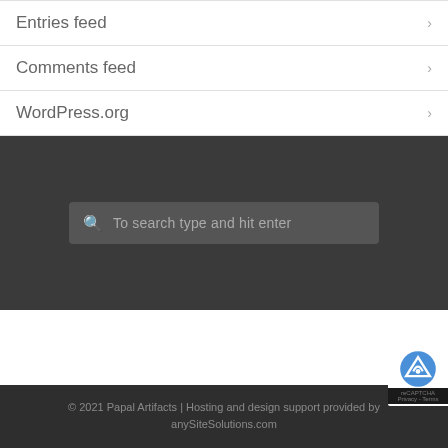Entries feed
Comments feed
WordPress.org
To search type and hit enter
© 2021 Papal Artifacts | Hosting and design support provided by anySiteSolutions.com